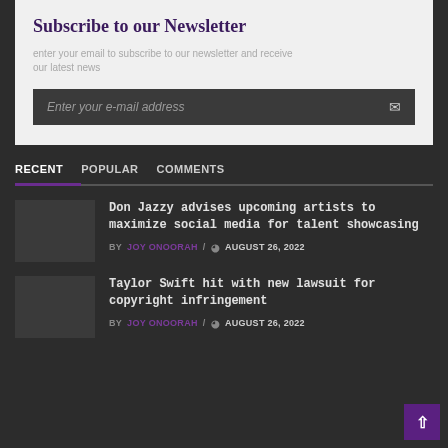Subscribe to our Newsletter
Enter your e-mail address
RECENT   POPULAR   COMMENTS
Don Jazzy advises upcoming artists to maximize social media for talent showcasing
BY JOY ONOORAH / AUGUST 26, 2022
Taylor Swift hit with new lawsuit for copyright infringement
BY JOY ONOORAH / AUGUST 26, 2022